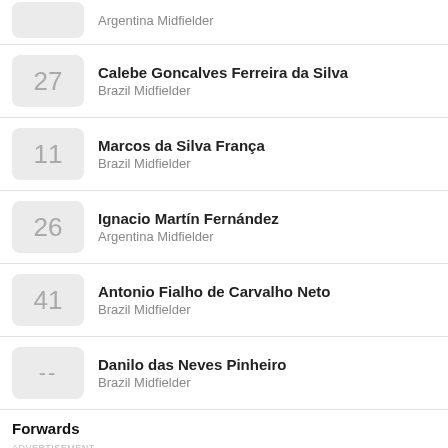27 Calebe Goncalves Ferreira da Silva — Brazil Midfielder
11 Marcos da Silva França — Brazil Midfielder
26 Ignacio Martín Fernández — Argentina Midfielder
41 Antonio Fialho de Carvalho Neto — Brazil Midfielder
-- Danilo das Neves Pinheiro — Brazil Midfielder
Forwards
Fabio Roberto Gomes Netto — Brazil Forward
14 Alan Kardec de Souza Pereira Junior — Brazil Forward